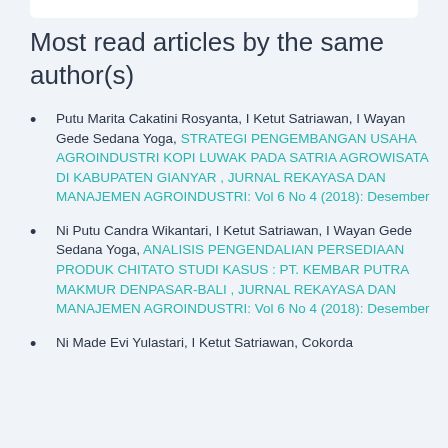Most read articles by the same author(s)
Putu Marita Cakatini Rosyanta, I Ketut Satriawan, I Wayan Gede Sedana Yoga, STRATEGI PENGEMBANGAN USAHA AGROINDUSTRI KOPI LUWAK PADA SATRIA AGROWISATA DI KABUPATEN GIANYAR , JURNAL REKAYASA DAN MANAJEMEN AGROINDUSTRI: Vol 6 No 4 (2018): Desember
Ni Putu Candra Wikantari, I Ketut Satriawan, I Wayan Gede Sedana Yoga, ANALISIS PENGENDALIAN PERSEDIAAN PRODUK CHITATO STUDI KASUS : PT. KEMBAR PUTRA MAKMUR DENPASAR-BALI , JURNAL REKAYASA DAN MANAJEMEN AGROINDUSTRI: Vol 6 No 4 (2018): Desember
Ni Made Evi Yulastari, I Ketut Satriawan, Cokorda